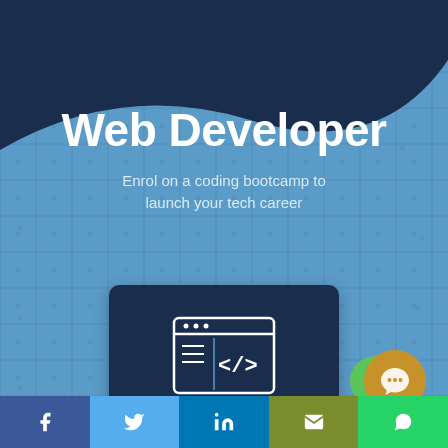[Figure (infographic): Promotional infographic for a Web Developer Bootcamp. Dark blue wave shape at top, grid pattern background in blue, large white text 'Web Developer' with 'BECOME A' header, subtitle text, a course card with browser/code icon, and social media share bar at bottom.]
BECOME A Web Developer
Enrol on a coding bootcamp to launch your tech career
Web Developer
BOOTCAMP
f  Twitter  in  Email  WhatsApp